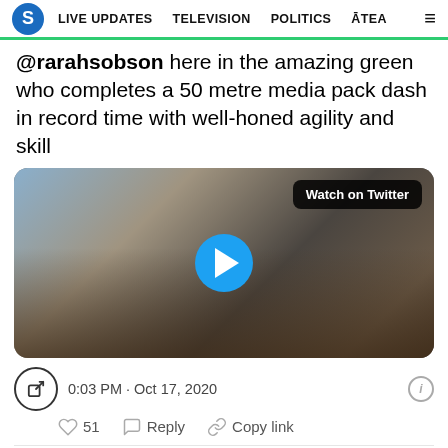S  LIVE UPDATES  TELEVISION  POLITICS  ĀTEA  ≡
@rarahsobson here in the amazing green who completes a 50 metre media pack dash in record time with well-honed agility and skill
[Figure (screenshot): Embedded Twitter video player showing a media scrum scene with a man in a pink tie being interviewed outdoors near a waterfront. A blue circular play button is centered. 'Watch on Twitter' label in top right.]
0:03 PM · Oct 17, 2020
51  Reply  Copy link